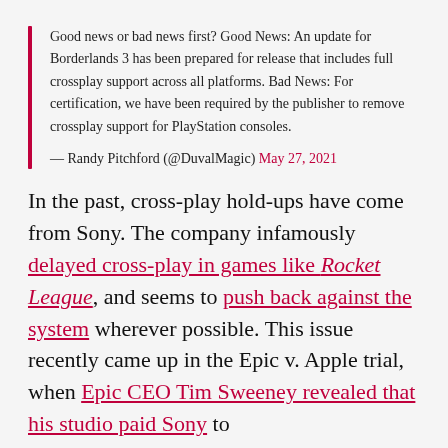Good news or bad news first? Good News: An update for Borderlands 3 has been prepared for release that includes full crossplay support across all platforms. Bad News: For certification, we have been required by the publisher to remove crossplay support for PlayStation consoles.
— Randy Pitchford (@DuvalMagic) May 27, 2021
In the past, cross-play hold-ups have come from Sony. The company infamously delayed cross-play in games like Rocket League, and seems to push back against the system wherever possible. This issue recently came up in the Epic v. Apple trial, when Epic CEO Tim Sweeney revealed that his studio paid Sony to